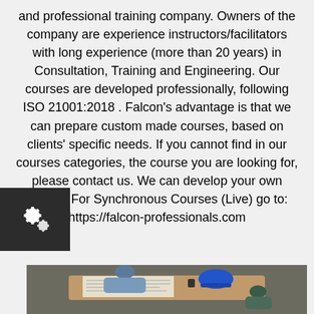and professional training company. Owners of the company are experience instructors/facilitators with long experience (more than 20 years) in Consultation, Training and Engineering. Our courses are developed professionally, following ISO 21001:2018 . Falcon's advantage is that we can prepare custom made courses, based on clients' specific needs. If you cannot find in our courses categories, the course you are looking for, please contact us. We can develop your own course. For Synchronous Courses (Live) go to: https://falcon-professionals.com
[Figure (photo): Overhead view of engineers/professionals working around a table with blueprints, a blue hard hat, and documents]